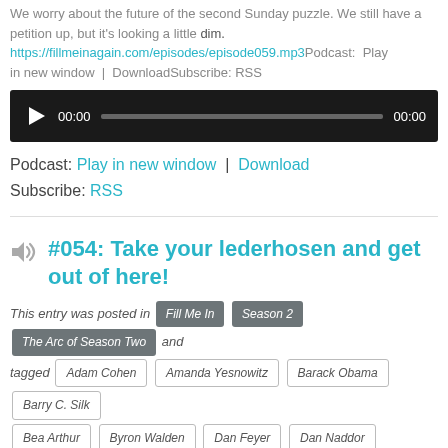We worry about the future of the second Sunday puzzle. We still have a petition up, but it's looking a little https://fillmeinagain.com/episodes/episode059.mp3Podcast: Play in new window | DownloadSubscribe: RSS
[Figure (screenshot): Audio player with play button, time 00:00, progress bar, end time 00:00 on dark background]
Podcast: Play in new window | Download
Subscribe: RSS
#054: Take your lederhosen and get out of here!
This entry was posted in Fill Me In Season 2 The Arc of Season Two and tagged Adam Cohen Amanda Yesnowitz Barack Obama Barry C. Silk Bea Arthur Byron Walden Dan Feyer Dan Naddor Daniel Rosen David J. Kahn David Stein Doug Peterson Ellen Ripstein Frances Heaney Fred Piscop Guy who plays October Gonzo Herbert Hoover